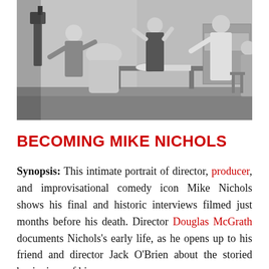[Figure (photo): Black and white photograph of a film set scene showing several people in an indoor kitchen/dining room setting. A person seated with back turned, others standing including a woman in a dress, people operating camera equipment on the left side.]
BECOMING MIKE NICHOLS
Synopsis: This intimate portrait of director, producer, and improvisational comedy icon Mike Nichols shows his final and historic interviews filmed just months before his death. Director Douglas McGrath documents Nichols's early life, as he opens up to his friend and director Jack O'Brien about the storied beginnings of his...